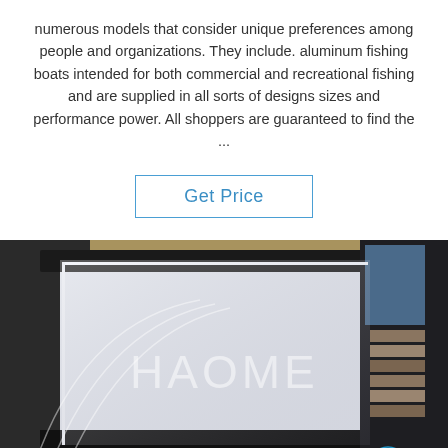numerous models that consider unique preferences among people and organizations. They include. aluminum fishing boats intended for both commercial and recreational fishing and are supplied in all sorts of designs sizes and performance power. All shoppers are guaranteed to find the ...
Get Price
[Figure (photo): Stack of aluminum/metal sheets in a workshop setting, with a HAOME watermark overlay and a TOP logo badge in the bottom right corner.]